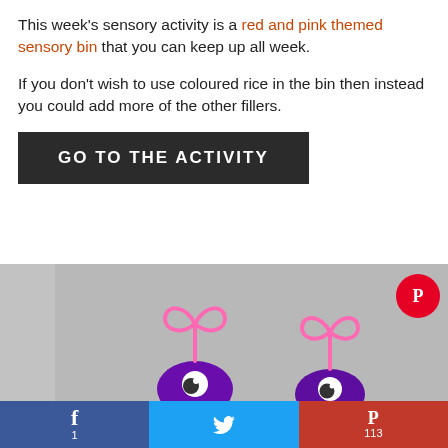This week's sensory activity is a red and pink themed sensory bin that you can keep up all week.
If you don't wish to use coloured rice in the bin then instead you could add more of the other fillers.
GO TO THE ACTIVITY
[Figure (photo): Photo of two purple fuzzy monster crafts with pink pipe cleaner heart antennae, on a grey background, with a Pinterest badge in the top right corner]
f 1  [Twitter bird] [Pinterest P] 113